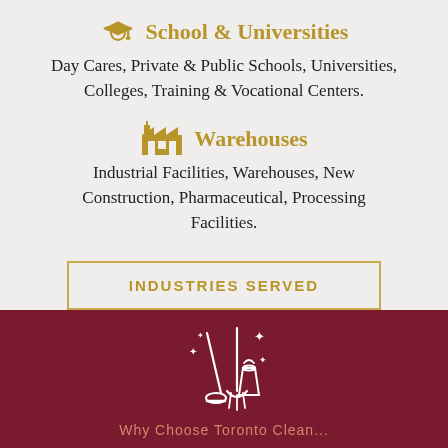School & Universities
Day Cares, Private & Public Schools, Universities, Colleges, Training & Vocational Centers.
Warehouses
Industrial Facilities, Warehouses, New Construction, Pharmaceutical, Processing Facilities.
INDUSTRIES SERVED
[Figure (illustration): White line-art cleaning icon (broom, mop, bucket with sparkles) on dark red background]
Why Choose Toronto Clean...